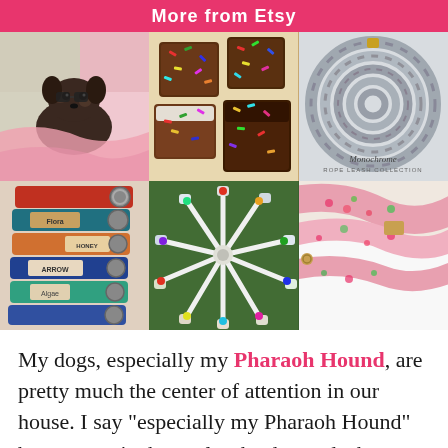More from Etsy
[Figure (photo): 6-panel photo grid showing Etsy pet products: top-left: dachshund dog with pink blanket; top-center: colorful sprinkle brownies/cookies; top-right: grey rope leash coiled (Monochrome label); bottom-left: stack of personalized dog collars with metal rings; bottom-center: colorful leashes fanned out in starburst on grass; bottom-right: pink floral patterned dog leash]
My dogs, especially my Pharaoh Hound, are pretty much the center of attention in our house. I say “especially my Pharaoh Hound” because, quite honestly, she demands the most attention. Mocha is